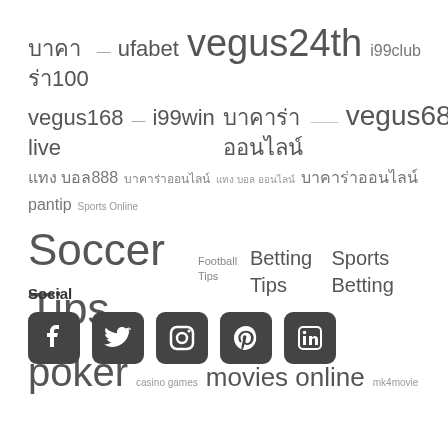บาคาร่า100 — ufabet vegus24th i99club
vegus168 live — i99win บาคาร่าออนไลน์ ——— vegus688
แทง บอล888 บาคาร่าออนไลน์ แทง บอล ออนไลน์ บาคาร่าออนไลน์ pantip Sports Online
Soccer Tips Football Tips Betting Tips Sports Betting
poker casino games movies online mk4movie
Social
[Figure (infographic): Social media icons: Facebook, Twitter, Instagram, Pinterest, LinkedIn]